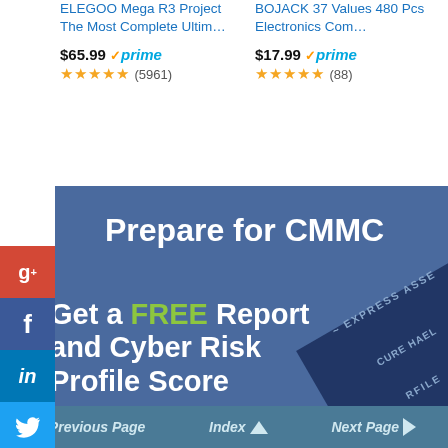ELEGOO Mega R3 Project The Most Complete Ultim…
$65.99 ✓prime ★★★★★ (5961)
BOJACK 37 Values 480 Pcs Electronics Com…
$17.99 ✓prime ★★★★★ (88)
Ads by Amazon
[Figure (screenshot): Advertisement banner: 'Prepare for CMMC – Get a FREE Report and Cyber Risk Profile Score' with dark blue background and social media sidebar icons (Google+, Facebook, LinkedIn, Twitter, Google, StumbleUpon)]
Previous Page   Index ▲   Next Page